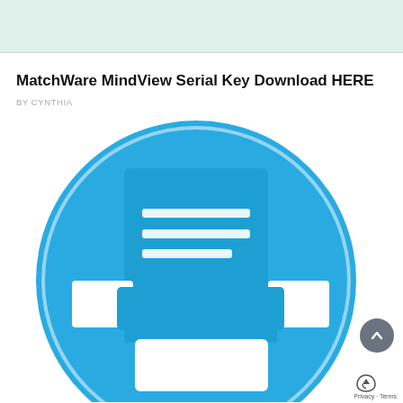[Figure (other): Light green/mint top banner area]
MatchWare MindView Serial Key Download HERE
BY CYNTHIA
[Figure (illustration): Blue circle with white printer icon in the center. The printer icon shows a document feed tray at top with horizontal lines representing text, a printer body in the middle with side trays, and a paper output tray at the bottom.]